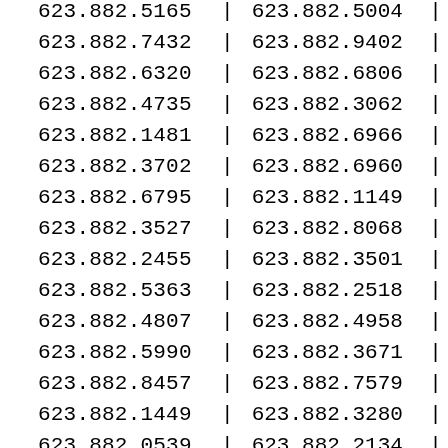| 623.882.5165 | | | 623.882.5004 | | |
| 623.882.7432 | | | 623.882.9402 | | |
| 623.882.6320 | | | 623.882.6806 | | |
| 623.882.4735 | | | 623.882.3062 | | |
| 623.882.1481 | | | 623.882.6966 | | |
| 623.882.3702 | | | 623.882.6960 | | |
| 623.882.6795 | | | 623.882.1149 | | |
| 623.882.3527 | | | 623.882.8068 | | |
| 623.882.2455 | | | 623.882.3501 | | |
| 623.882.5363 | | | 623.882.2518 | | |
| 623.882.4807 | | | 623.882.4958 | | |
| 623.882.5990 | | | 623.882.3671 | | |
| 623.882.8457 | | | 623.882.7579 | | |
| 623.882.1449 | | | 623.882.3280 | | |
| 623.882.0539 | | | 623.882.2134 | | |
| 623.882.5965 | | | 623.882.4954 | | |
| 623.882.1747 | | | 623.882.4239 | | |
| 623.882.3131 | | | 623.882.3150 | | |
| 623.882.8414 | | | 623.882.1288 | | |